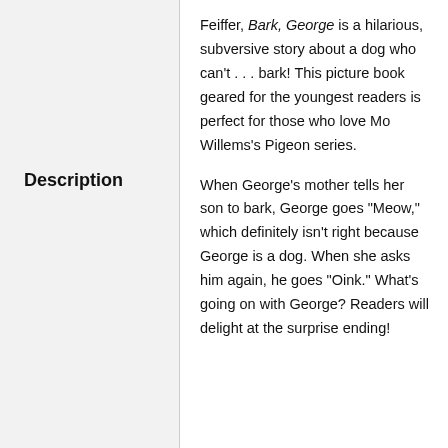Description
Feiffer, Bark, George is a hilarious, subversive story about a dog who can't . . . bark! This picture book geared for the youngest readers is perfect for those who love Mo Willems's Pigeon series.

When George's mother tells her son to bark, George goes "Meow," which definitely isn't right because George is a dog. When she asks him again, he goes "Oink." What's going on with George? Readers will delight at the surprise ending!